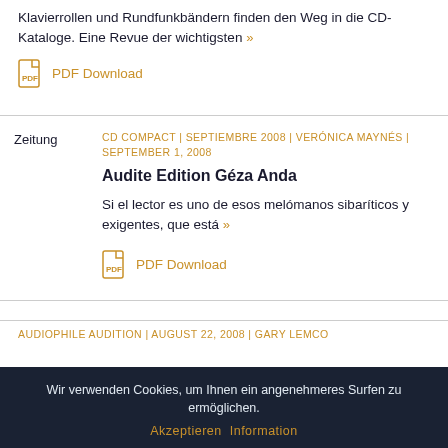Klavierrollen und Rundfunkbändern finden den Weg in die CD-Kataloge. Eine Revue der wichtigsten »
PDF Download
CD COMPACT | SEPTIEMBRE 2008 | VERÓNICA MAYNÉS | SEPTEMBER 1, 2008
Audite Edition Géza Anda
Si el lector es uno de esos melómanos sibaríticos y exigentes, que está »
PDF Download
AUDIOPHILE AUDITION | AUGUST 22, 2008 | GARY LEMCO
Wir verwenden Cookies, um Ihnen ein angenehmeres Surfen zu ermöglichen.
Akzeptieren Information